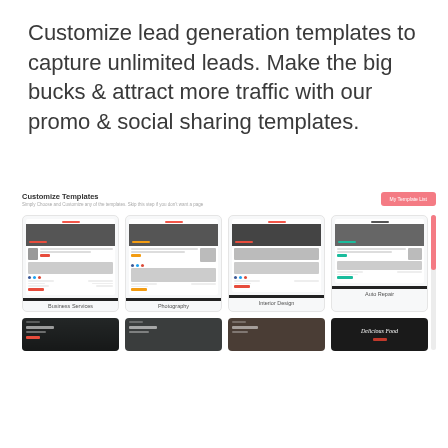Customize lead generation templates to capture unlimited leads. Make the big bucks & attract more traffic with our promo & social sharing templates.
[Figure (screenshot): Screenshot of a template customization interface showing 'Customize Templates' heading with subtitle 'Simply Choose and Customize any of the templates. Skip this step if you don't want a page' and a pink 'My Template List' button. Below are four template cards labeled Business Services, Photography, Interior Design, and Auto Repair, each showing a miniature website layout. A pink scrollbar is visible on the right. Below is a partial row of four more dark-themed template cards.]